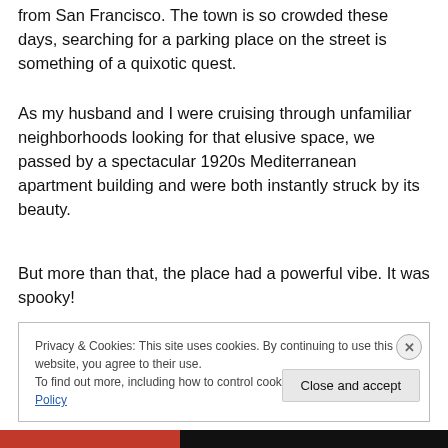from San Francisco. The town is so crowded these days, searching for a parking place on the street is something of a quixotic quest.
As my husband and I were cruising through unfamiliar neighborhoods looking for that elusive space, we passed by a spectacular 1920s Mediterranean apartment building and were both instantly struck by its beauty.
But more than that, the place had a powerful vibe. It was spooky!
Privacy & Cookies: This site uses cookies. By continuing to use this website, you agree to their use.
To find out more, including how to control cookies, see here: Cookie Policy
Close and accept